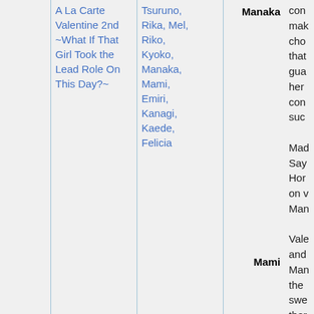|  | Title | Characters | Role | Description |
| --- | --- | --- | --- | --- |
|  | A La Carte Valentine 2nd ~What If That Girl Took the Lead Role On This Day?~ | Tsuruno, Rika, Mel, Riko, Kyoko, Manaka, Mami, Emiri, Kanagi, Kaede, Felicia | Manaka | con make cho that gua her con suc Mad Say Hor on v Man |
|  |  |  | Mami | Vale and Man the swe ther Inte |